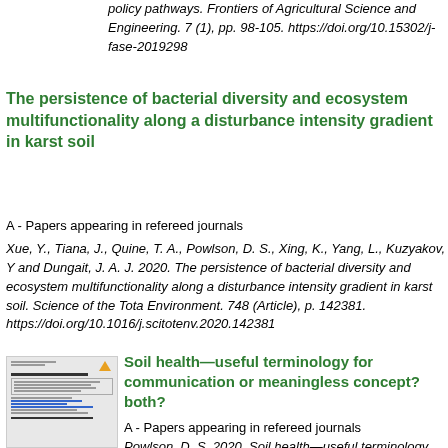policy pathways. Frontiers of Agricultural Science and Engineering. 7 (1), pp. 98-105. https://doi.org/10.15302/j-fase-2019298
The persistence of bacterial diversity and ecosystem multifunctionality along a disturbance intensity gradient in karst soil
A - Papers appearing in refereed journals
Xue, Y., Tiana, J., Quine, T. A., Powlson, D. S., Xing, K., Yang, L., Kuzyakov, Y and Dungait, J. A. J. 2020. The persistence of bacterial diversity and ecosystem multifunctionality along a disturbance intensity gradient in karst soil. Science of the Total Environment. 748 (Article), p. 142381. https://doi.org/10.1016/j.scitotenv.2020.142381
[Figure (screenshot): Thumbnail of a document page showing title and abstract with blue links]
Soil health—useful terminology for communication or meaningless concept? both?
A - Papers appearing in refereed journals
Powlson, D. S. 2020. Soil health—useful terminology for communication or meaningless...